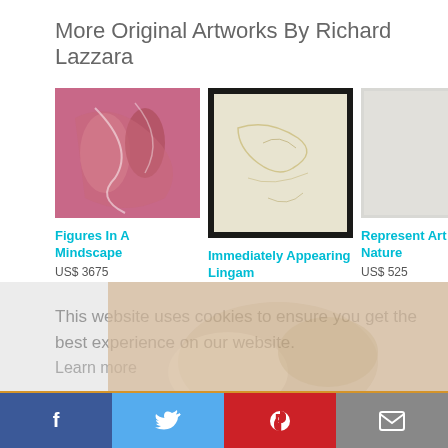More Original Artworks By Richard Lazzara
[Figure (photo): Artwork thumbnail: Figures In A Mindscape - colorful abstract with pink and red tones]
Figures In A Mindscape
US$ 3675
[Figure (photo): Artwork thumbnail: Immediately Appearing Lingam - light sketch on dark background]
Immediately Appearing Lingam
US$ 3045
[Figure (photo): Artwork thumbnail: Represent Art Nature - light gray/white abstract]
Represent Art Nature
US$ 525
[Figure (photo): Artwork thumbnail: Rumi - black ink marks on white background]
Rumi
US$ 210
[Figure (photo): Artwork thumbnail: Calm Mind Lingam - light sketch with black border]
Calm Mind Lingam
US$ 3045
[Figure (photo): Artwork thumbnail: Tower - warm orange/brown tones]
Tower
US$ 1680
This website uses cookies to ensure you get the best experience on our website.
Learn more
[X] Got it!
f  (Twitter bird)  (Pinterest P)  (Mail icon)